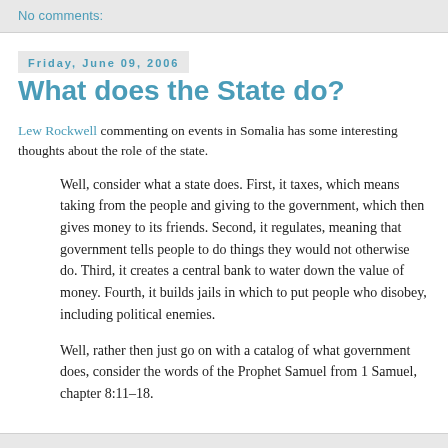No comments:
Friday, June 09, 2006
What does the State do?
Lew Rockwell commenting on events in Somalia has some interesting thoughts about the role of the state.
Well, consider what a state does. First, it taxes, which means taking from the people and giving to the government, which then gives money to its friends. Second, it regulates, meaning that government tells people to do things they would not otherwise do. Third, it creates a central bank to water down the value of money. Fourth, it builds jails in which to put people who disobey, including political enemies.
Well, rather then just go on with a catalog of what government does, consider the words of the Prophet Samuel from 1 Samuel, chapter 8:11–18.